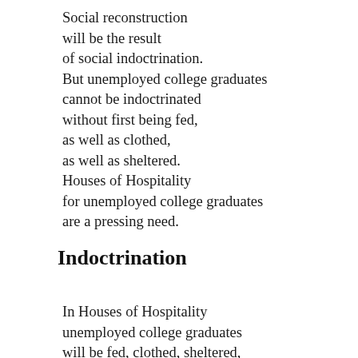Social reconstruction will be the result of social indoctrination. But unemployed college graduates cannot be indoctrinated without first being fed, as well as clothed, as well as sheltered. Houses of Hospitality for unemployed college graduates are a pressing need.
Indoctrination
In Houses of Hospitality unemployed college graduates will be fed, clothed, sheltered,